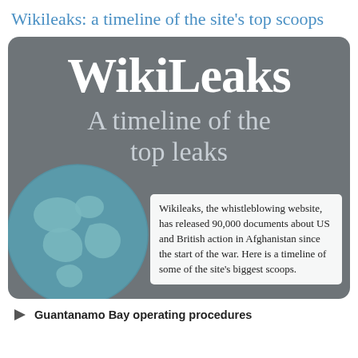Wikileaks: a timeline of the site's top scoops
[Figure (infographic): WikiLeaks infographic with large 'WikiLeaks' heading, subtitle 'A timeline of the top leaks', a globe illustration in teal/blue on a dark grey rounded rectangle background, and a white text box describing the site's release of 90,000 documents about US and British action in Afghanistan.]
Wikileaks, the whistleblowing website, has released 90,000 documents about US and British action in Afghanistan since the start of the war. Here is a timeline of some of the site's biggest scoops.
Guantanamo Bay operating procedures